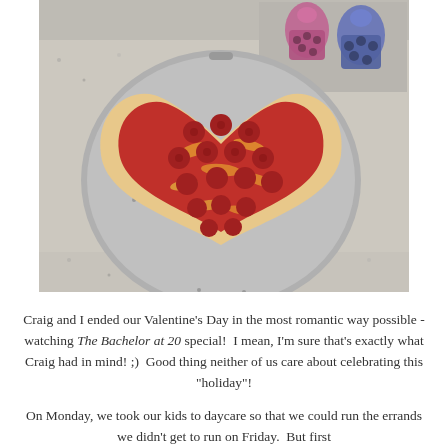[Figure (photo): A heart-shaped pepperoni pizza on a round silver pizza pan, on a granite countertop. Two colorful sippy cups are visible in the background.]
Craig and I ended our Valentine's Day in the most romantic way possible - watching The Bachelor at 20 special!  I mean, I'm sure that's exactly what Craig had in mind! ;)  Good thing neither of us care about celebrating this "holiday"!
On Monday, we took our kids to daycare so that we could run the errands we didn't get to run on Friday.  But first